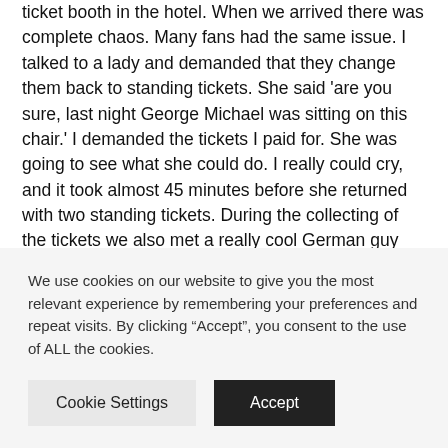ticket booth in the hotel. When we arrived there was complete chaos. Many fans had the same issue. I talked to a lady and demanded that they change them back to standing tickets. She said 'are you sure, last night George Michael was sitting on this chair.' I demanded the tickets I paid for. She was going to see what she could do. I really could cry, and it took almost 45 minutes before she returned with two standing tickets. During the collecting of the tickets we also met a really cool German guy with his Italian boyfriend. We stayed in touch, and he is still a really good friend.
Back in the queue the vibe was energetic. Everybody was so ready to see Madonna, but we still had to wait many hours.
We use cookies on our website to give you the most relevant experience by remembering your preferences and repeat visits. By clicking “Accept”, you consent to the use of ALL the cookies.